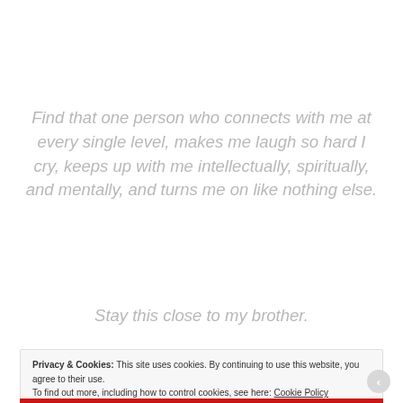Find that one person who connects with me at every single level, makes me laugh so hard I cry, keeps up with me intellectually, spiritually, and mentally, and turns me on like nothing else.
Stay this close to my brother.
Privacy & Cookies: This site uses cookies. By continuing to use this website, you agree to their use. To find out more, including how to control cookies, see here: Cookie Policy
Close and accept